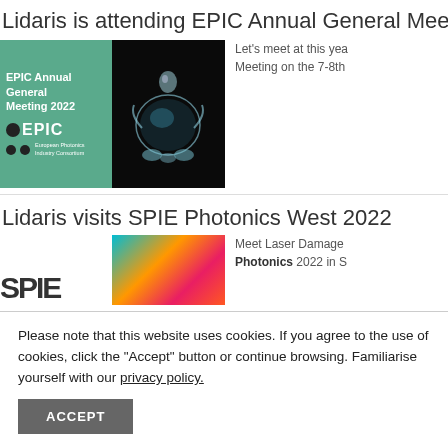Lidaris is attending EPIC Annual General Mee
[Figure (photo): EPIC Annual General Meeting 2022 banner with green left panel showing EPIC logo and black right panel showing a glass lens/optic sculpture]
Let's meet at this yea Meeting on the 7-8th
Lidaris visits SPIE Photonics West 2022
[Figure (photo): SPIE Photonics West 2022 banner with SPIE letters on white left panel and colorful photonics image on right]
Meet Laser Damage Photonics 2022 in S
Please note that this website uses cookies. If you agree to the use of cookies, click the "Accept" button or continue browsing. Familiarise yourself with our privacy policy.
ACCEPT